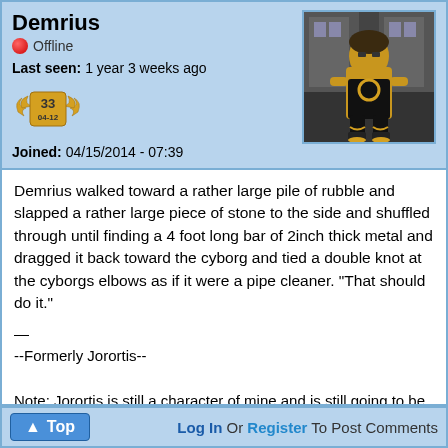Demrius
🔴 Offline
Last seen: 1 year 3 weeks ago
[Figure (illustration): Badge icon with wings, number 33, and text 04-12]
Joined: 04/15/2014 - 07:39
[Figure (illustration): Avatar of a muscular character in black outfit with yellow markings, standing in a dark alley]
Demrius walked toward a rather large pile of rubble and slapped a rather large piece of stone to the side and shuffled through until finding a 4 foot long bar of 2inch thick metal and dragged it back toward the cyborg and tied a double knot at the cyborgs elbows as if it were a pipe cleaner. "That should do it."
—
--Formerly Jorortis--

Note: Jorortis is still a character of mine and is still going to be in the super group, not Demirus, at least not yet...
Top   Log In Or Register To Post Comments